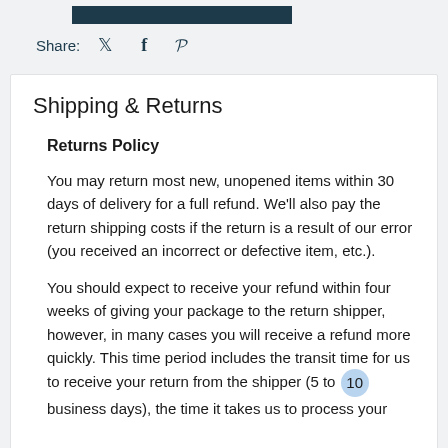[Figure (other): Dark teal/navy colored horizontal banner bar at the top of the page]
Share:  🐦  f  ℘
Shipping & Returns
Returns Policy
You may return most new, unopened items within 30 days of delivery for a full refund. We'll also pay the return shipping costs if the return is a result of our error (you received an incorrect or defective item, etc.).
You should expect to receive your refund within four weeks of giving your package to the return shipper, however, in many cases you will receive a refund more quickly. This time period includes the transit time for us to receive your return from the shipper (5 to 10 business days), the time it takes us to process your